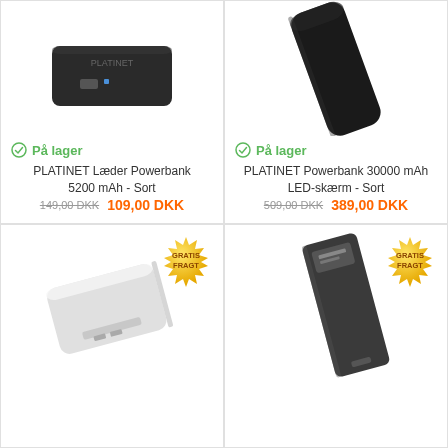[Figure (photo): PLATINET black leather powerbank 5200 mAh product photo]
På lager
PLATINET Læder Powerbank 5200 mAh - Sort
149,00 DKK  109,00 DKK
[Figure (photo): PLATINET black powerbank 30000 mAh with LED screen product photo]
På lager
PLATINET Powerbank 30000 mAh LED-skærm - Sort
509,00 DKK  389,00 DKK
[Figure (photo): White powerbank product photo with GRATIS FRAGT badge]
[Figure (photo): Black powerbank product photo with GRATIS FRAGT badge]